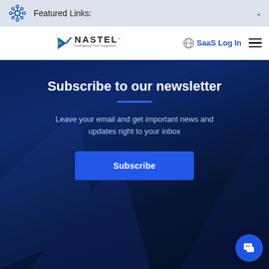Featured Links:
[Figure (logo): Nastel logo with tagline Intelligence from integration]
SaaS Log In
Subscribe to our newsletter
Leave your email and get important news and updates right to your inbox
Subscribe